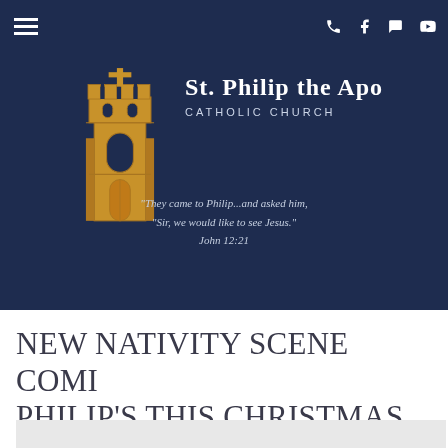Navigation bar with hamburger menu and icons
[Figure (logo): St. Philip the Apostle Catholic Church logo with golden church tower illustration and white text]
"They came to Philip...and asked him, 'Sir, we would like to see Jesus.' John 12:21
NEW NATIVITY SCENE COMING TO ST. PHILIP'S THIS CHRISTMAS